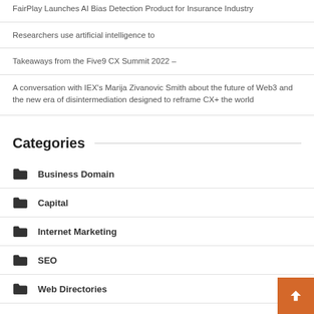FairPlay Launches AI Bias Detection Product for Insurance Industry
Researchers use artificial intelligence to
Takeaways from the Five9 CX Summit 2022 –
A conversation with IEX's Marija Zivanovic Smith about the future of Web3 and the new era of disintermediation designed to reframe CX+ the world
Categories
Business Domain
Capital
Internet Marketing
SEO
Web Directories